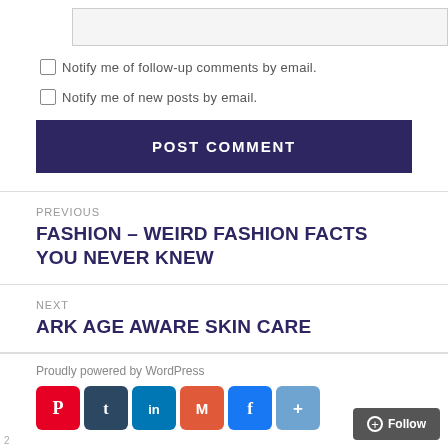[Figure (screenshot): Text input box (empty, light gray background)]
Notify me of follow-up comments by email.
Notify me of new posts by email.
POST COMMENT
PREVIOUS
FASHION – WEIRD FASHION FACTS YOU NEVER KNEW
NEXT
ARK AGE AWARE SKIN CARE
Proudly powered by WordPress
[Figure (infographic): Social share icons: Pinterest, Tumblr, LinkedIn, Gmail, Facebook, More (+)]
+ Follow